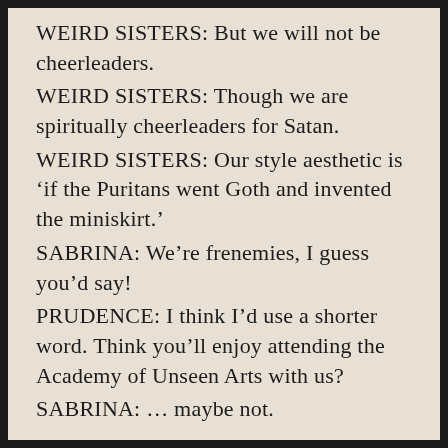WEIRD SISTERS: But we will not be cheerleaders.
WEIRD SISTERS: Though we are spiritually cheerleaders for Satan.
WEIRD SISTERS: Our style aesthetic is ‘if the Puritans went Goth and invented the miniskirt.’
SABRINA: We’re frenemies, I guess you’d say!
PRUDENCE: I think I’d use a shorter word. Think you’ll enjoy attending the Academy of Unseen Arts with us?
SABRINA: … maybe not.
SABRINA: So I’m a witch and I might have to leave you and attend witch